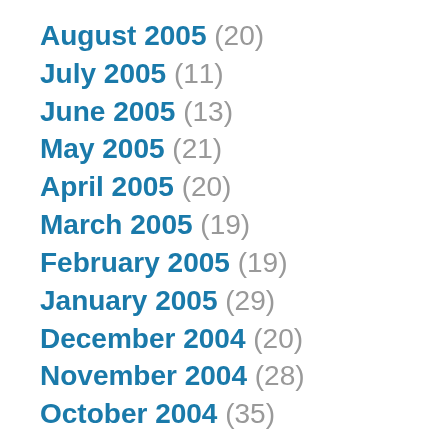August 2005 (20)
July 2005 (11)
June 2005 (13)
May 2005 (21)
April 2005 (20)
March 2005 (19)
February 2005 (19)
January 2005 (29)
December 2004 (20)
November 2004 (28)
October 2004 (35)